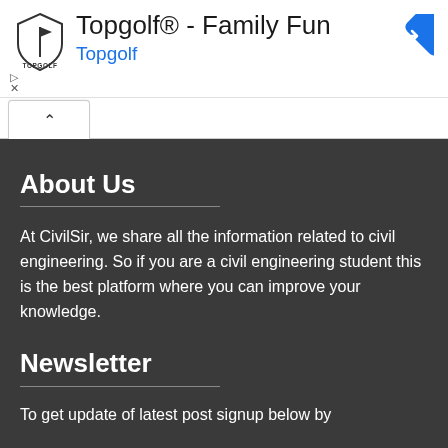[Figure (screenshot): Advertisement banner for Topgolf® - Family Fun showing Topgolf logo, title, subtitle in blue, blue diamond navigation arrow icon, and ad controls (play and close buttons)]
[Figure (screenshot): Browser tab area with a single tab showing an up-arrow chevron symbol]
About Us
At CivilSir, we share all the information related to civil engineering. So if you are a civil engineering student this is the best platform where you can improve your knowledge.
Newsletter
To get update of latest post signup below by